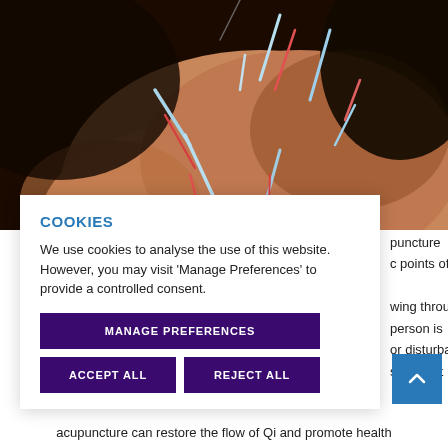[Figure (photo): Close-up photo of a person's back/shoulder with multiple acupuncture needles inserted, highlighted in blue and red colors against a dark background.]
COOKIES
We use cookies to analyse the use of this website. However, you may visit 'Manage Preferences' to provide a controlled consent.
MANAGE PREFERENCES
ACCEPT ALL
REJECT ALL
puncture
c points of the

wing through the
person is
or disturba
s thought
acupuncture can restore the flow of Qi and promote health